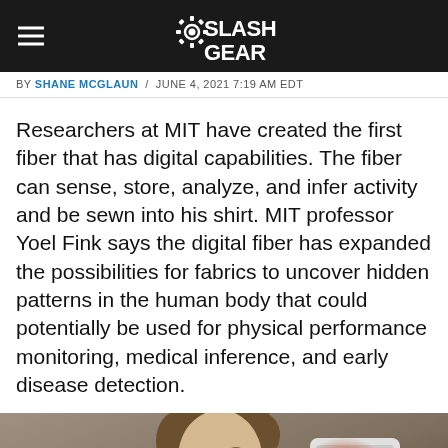SlashGear
BY SHANE MCGLAUN / JUNE 4, 2021 7:19 AM EDT
Researchers at MIT have created the first fiber that has digital capabilities. The fiber can sense, store, analyze, and infer activity and be sewn into his shirt. MIT professor Yoel Fink says the digital fiber has expanded the possibilities for fabrics to uncover hidden patterns in the human body that could potentially be used for physical performance monitoring, medical inference, and early disease detection.
[Figure (photo): Person holding a smartphone to their ear with a red glow visible near the side of their head, suggesting heat or signal from the phone.]